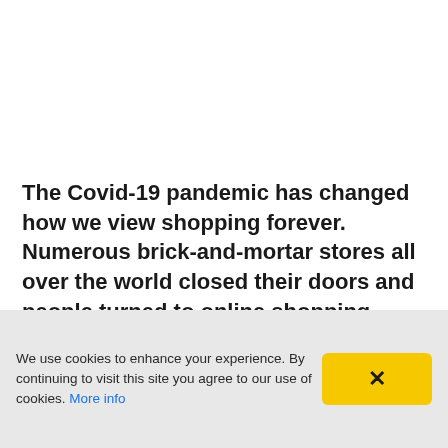The Covid-19 pandemic has changed how we view shopping forever. Numerous brick-and-mortar stores all over the world closed their doors and people turned to online shopping even more than before.
We use cookies to enhance your experience. By continuing to visit this site you agree to our use of cookies. More info